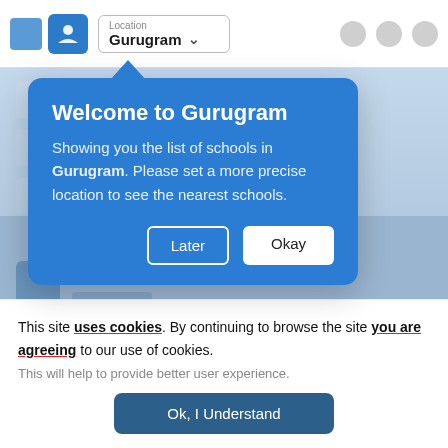[Figure (screenshot): Mobile app screenshot showing a location selector dropdown with 'Gurugram' selected, nav icons, and blurred background listing of schools]
Welcome to Gurugram
Showing you the list of schools in Gurugram. Please set a more precise location to see the nearest schools.
Later
Okay
This site uses cookies. By continuing to browse the site you are agreeing to our use of cookies.
This will help to provide better user experience.
Ok, I Understand